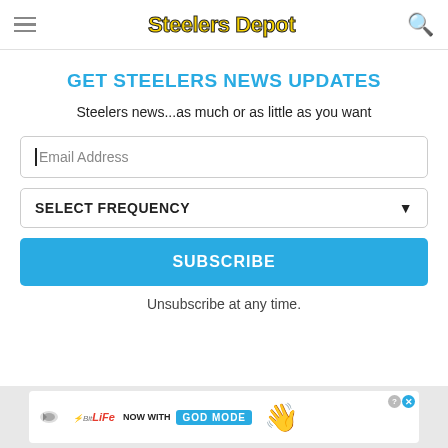Steelers Depot
GET STEELERS NEWS UPDATES
Steelers news...as much or as little as you want
Email Address
SELECT FREQUENCY
SUBSCRIBE
Unsubscribe at any time.
[Figure (screenshot): BitLife advertisement banner with 'NOW WITH GOD MODE' text and hand pointing graphic]